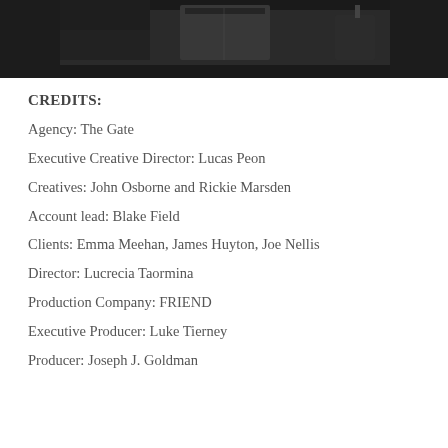[Figure (photo): Dark/dimly lit film still or screenshot at the top of the page]
CREDITS:
Agency: The Gate
Executive Creative Director: Lucas Peon
Creatives: John Osborne and Rickie Marsden
Account lead: Blake Field
Clients: Emma Meehan, James Huyton, Joe Nellis
Director: Lucrecia Taormina
Production Company: FRIEND
Executive Producer: Luke Tierney
Producer: Joseph J. Goldman